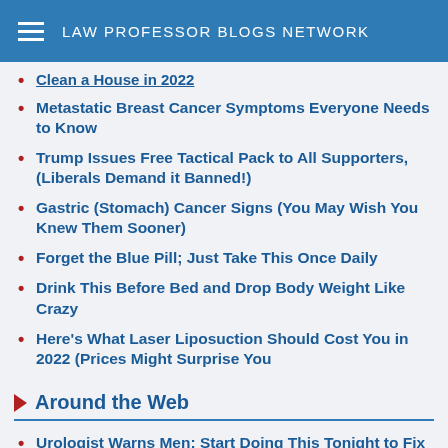LAW PROFESSOR BLOGS NETWORK
Clean a House in 2022
Metastatic Breast Cancer Symptoms Everyone Needs to Know
Trump Issues Free Tactical Pack to All Supporters, (Liberals Demand it Banned!)
Gastric (Stomach) Cancer Signs (You May Wish You Knew Them Sooner)
Forget the Blue Pill; Just Take This Once Daily
Drink This Before Bed and Drop Body Weight Like Crazy
Here's What Laser Liposuction Should Cost You in 2022 (Prices Might Surprise You
Around the Web
Urologist Warns Men: Start Doing This Tonight to Fix Your ED (Try Tonight)